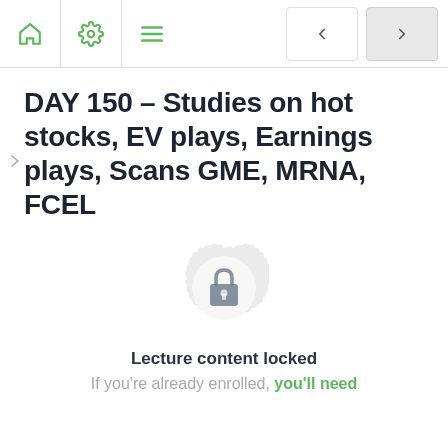Navigation bar with home, settings, menu icons and navigation arrows
DAY 150 – Studies on hot stocks, EV plays, Earnings plays, Scans GME, MRNA, FCEL
[Figure (illustration): Locked content badge — circular gear/seal shape in light gray with a padlock icon in the center]
Lecture content locked
If you're already enrolled, you'll need